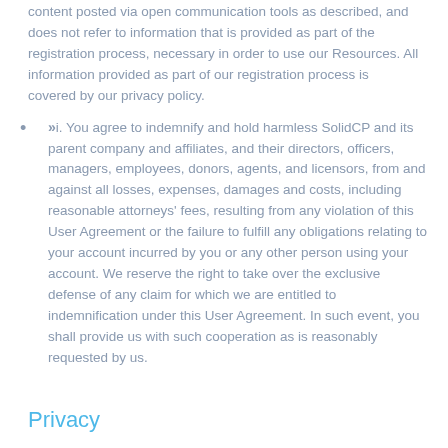content posted via open communication tools as described, and does not refer to information that is provided as part of the registration process, necessary in order to use our Resources. All information provided as part of our registration process is covered by our privacy policy.
»i. You agree to indemnify and hold harmless SolidCP and its parent company and affiliates, and their directors, officers, managers, employees, donors, agents, and licensors, from and against all losses, expenses, damages and costs, including reasonable attorneys' fees, resulting from any violation of this User Agreement or the failure to fulfill any obligations relating to your account incurred by you or any other person using your account. We reserve the right to take over the exclusive defense of any claim for which we are entitled to indemnification under this User Agreement. In such event, you shall provide us with such cooperation as is reasonably requested by us.
Privacy
Your privacy is very important to us, which is why we've created a separate Privacy Policy in order to explain in detail how we collect,